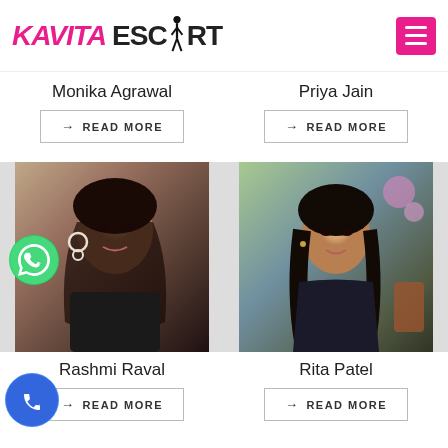[Figure (logo): Kavita Escort logo with stylized female figure silhouette and pink hamburger menu button]
Monika Agrawal
→ READ MORE
Priya Jain
→ READ MORE
[Figure (photo): Woman with heavy makeup, large earrings, dark curly hair, selfie-style photo]
[Figure (photo): Young woman in dark outfit seated outdoors with flowers in background]
Rashmi Raval
→ READ MORE
Rita Patel
→ READ MORE